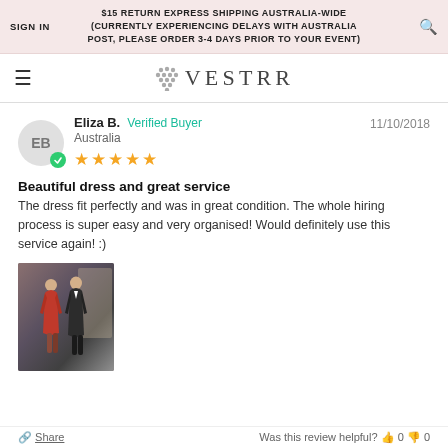SIGN IN | $15 RETURN EXPRESS SHIPPING AUSTRALIA-WIDE (CURRENTLY EXPERIENCING DELAYS WITH AUSTRALIA POST, PLEASE ORDER 3-4 DAYS PRIOR TO YOUR EVENT)
[Figure (logo): VESTRR brand logo with decorative diamond/grape cluster icon]
Eliza B.  Verified Buyer  11/10/2018  Australia  ★★★★★
Beautiful dress and great service
The dress fit perfectly and was in great condition. The whole hiring process is super easy and very organised! Would definitely use this service again! :)
[Figure (photo): Photo of a couple: woman in red dress and man in black tuxedo standing indoors]
Share  |  Was this review helpful?  0  0